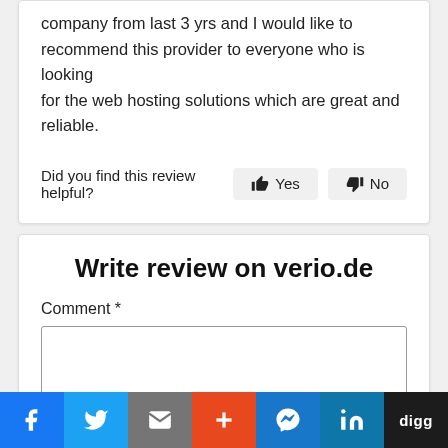company from last 3 yrs and I would like to recommend this provider to everyone who is looking for the web hosting solutions which are great and reliable.
Did you find this review helpful? Yes No
Write review on verio.de
Comment *
[Figure (screenshot): Social sharing bar with Facebook, Twitter, Email, Plus, Messenger, LinkedIn, and Digg buttons]